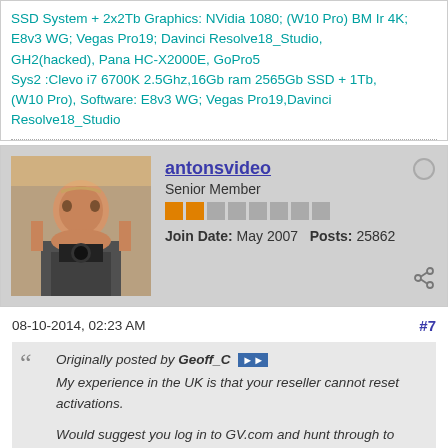SSD System + 2x2Tb Graphics: NVidia 1080; (W10 Pro) BM Ir 4K; E8v3 WG; Vegas Pro19; Davinci Resolve18_Studio, GH2(hacked), Pana HC-X2000E, GoPro5
Sys2 :Clevo i7 6700K 2.5Ghz,16Gb ram 2565Gb SSD + 1Tb, (W10 Pro), Software: E8v3 WG; Vegas Pro19,Davinci Resolve18_Studio
[Figure (photo): Avatar photo of antonsvideo - a person holding a camera]
antonsvideo
Senior Member
Join Date: May 2007   Posts: 25862
08-10-2014, 02:23 AM
#7
Originally posted by Geoff_C
My experience in the UK is that your reseller cannot reset activations.

Would suggest you log in to GV.com and hunt through to 'contact customer support'

Either 'phone or email and be prepared to wait a couple of days.